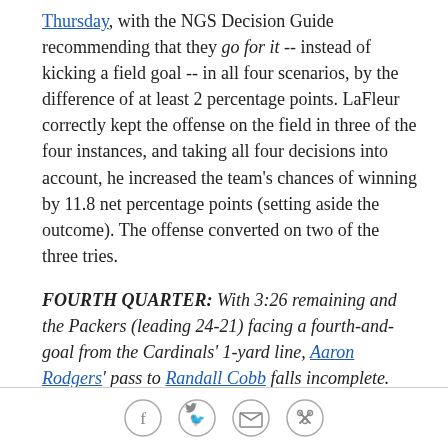Thursday, with the NGS Decision Guide recommending that they go for it -- instead of kicking a field goal -- in all four scenarios, by the difference of at least 2 percentage points. LaFleur correctly kept the offense on the field in three of the four instances, and taking all four decisions into account, he increased the team's chances of winning by 11.8 net percentage points (setting aside the outcome). The offense converted on two of the three tries.
FOURTH QUARTER: With 3:26 remaining and the Packers (leading 24-21) facing a fourth-and-goal from the Cardinals' 1-yard line, Aaron Rodgers' pass to Randall Cobb falls incomplete.
Of the four aforementioned fourth-down calls, the most
Social share icons: Facebook, Twitter, Email, Link